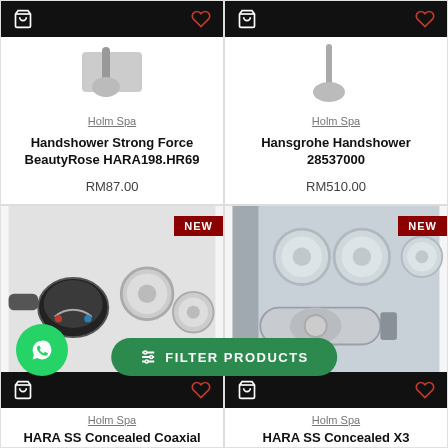[Figure (screenshot): Product listing grid showing shower and concealed valve products from Holm Spa on an e-commerce website]
Holm Spa
Handshower Strong Force BeautyRose HARA198.HR69
RM87.00
Holm Spa
Hansgrohe Handshower 28537000
RM510.00
[Figure (photo): HARA SS Concealed Coaxial thermostatic valve product photo with NEW badge]
[Figure (photo): HARA SS Concealed X3 thermostatic valve product photo with three round buttons and NEW badge]
Holm Spa
HARA SS Concealed Coaxial
Holm Spa
HARA SS Concealed X3